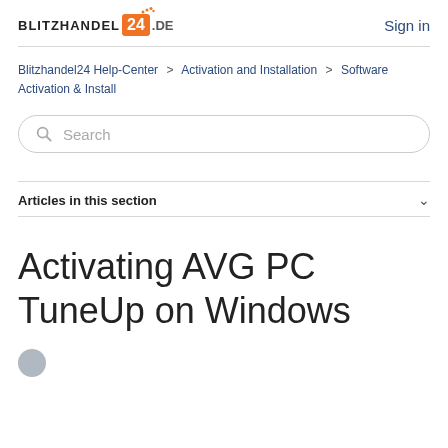BLITZHANDEL 24 .DE   Sign in
Blitzhandel24 Help-Center > Activation and Installation > Software Activation & Install
Search
Articles in this section
Activating AVG PC TuneUp on Windows